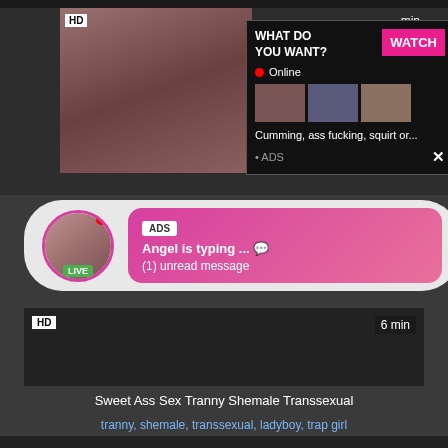[Figure (screenshot): Adult video website screenshot showing video thumbnails, a popup ad overlay with 'WHAT DO YOU WANT?' heading and WATCH button, a live chat ad notification, video title, and tag links]
WHAT DO YOU WANT?
WATCH
Online
Cumming, ass fucking, squirt or...
• ADS
ADS
Angel is typing ... 💬
(1) unread message
HD
6 min
Sweet Ass Sex Tranny Shemale Transsexual
tranny, shemale, transsexual, ladyboy, trap girl